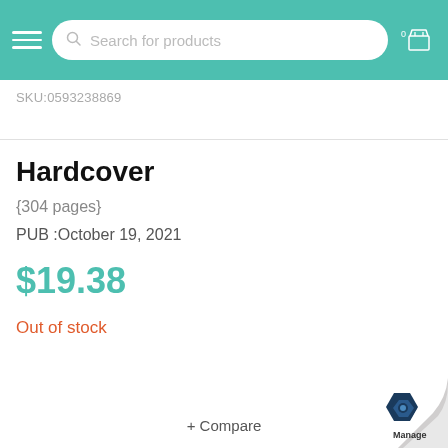[Figure (screenshot): E-commerce website header with teal background, hamburger menu icon, search bar with placeholder text 'Search for products', and shopping cart icon with badge showing 0]
SKU:0593238869
Hardcover
{304 pages}
PUB :October 19, 2021
$19.38
Out of stock
+ Compare
[Figure (logo): Page curl in bottom right corner revealing a blue hexagonal logo with 'Manage' text below]